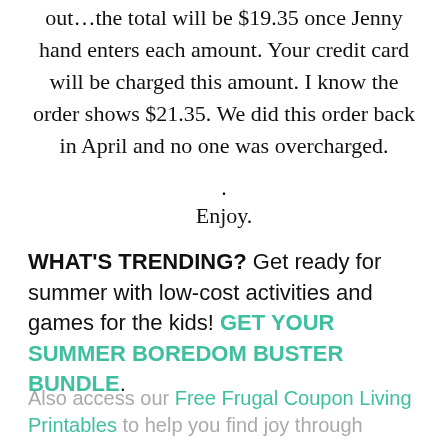out...the total will be $19.35 once Jenny hand enters each amount. Your credit card will be charged this amount. I know the order shows $21.35. We did this order back in April and no one was overcharged.
.
Enjoy.
WHAT'S TRENDING? Get ready for summer with low-cost activities and games for the kids! GET YOUR SUMMER BOREDOM BUSTER BUNDLE.
Also access our Free Frugal Coupon Living Printables to help you find joy through